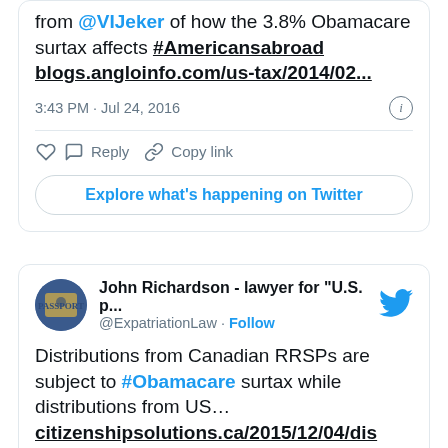from @VIJeker of how the 3.8% Obamacare surtax affects #Americansabroad blogs.angloinfo.com/us-tax/2014/02...
3:43 PM · Jul 24, 2016
Reply  Copy link
Explore what's happening on Twitter
John Richardson - lawyer for "U.S. p... @ExpatriationLaw · Follow
Distributions from Canadian RRSPs are subject to #Obamacare surtax while distributions from US… citizenshipsolutions.ca/2015/12/04/dis … via @ExpatriationLaw